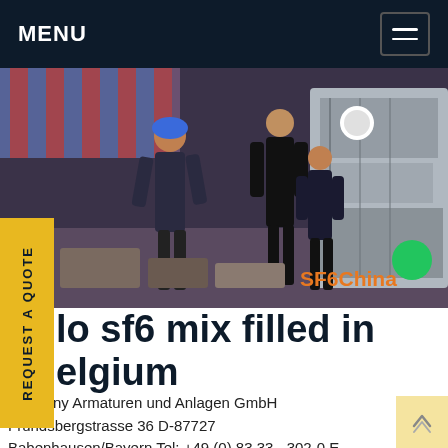MENU
[Figure (photo): Industrial scene showing workers in hard hats next to large equipment/machinery, with SF6China watermark in orange text and green dot overlay in bottom right corner.]
lo sf6 mix filled in elgium
company Armaturen und Anlagen GmbH Frundsbergstrasse 36 D-87727 Babenhausen/Bayern Tel: +49 (0) 83 33 - 302-0 E-Mail: info